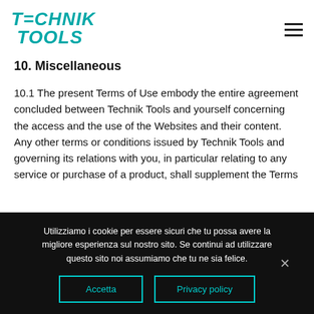TECHNIK TOOLS
10. Miscellaneous
10.1 The present Terms of Use embody the entire agreement concluded between Technik Tools and yourself concerning the access and the use of the Websites and their content. Any other terms or conditions issued by Technik Tools and governing its relations with you, in particular relating to any service or purchase of a product, shall supplement the Terms
Utilizziamo i cookie per essere sicuri che tu possa avere la migliore esperienza sul nostro sito. Se continui ad utilizzare questo sito noi assumiamo che tu ne sia felice.
Accetta
Privacy policy